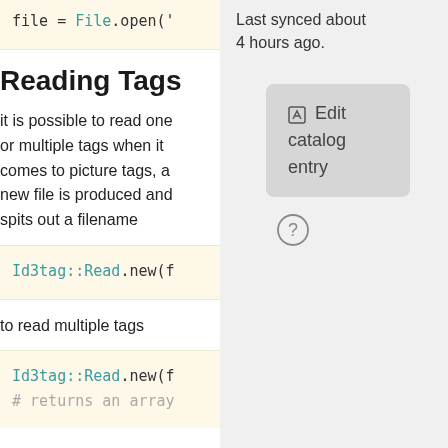file = File.open('
Last synced about 4 hours ago.
Reading Tags
it is possible to read one or multiple tags when it comes to picture tags, a new file is produced and spits out a filename
[Figure (screenshot): Edit catalog entry button (gray rounded rectangle) with pencil icon]
[Figure (other): Help/question mark circle icon]
Id3tag::Read.new(f
to read multiple tags
Id3tag::Read.new(f
# returns an array